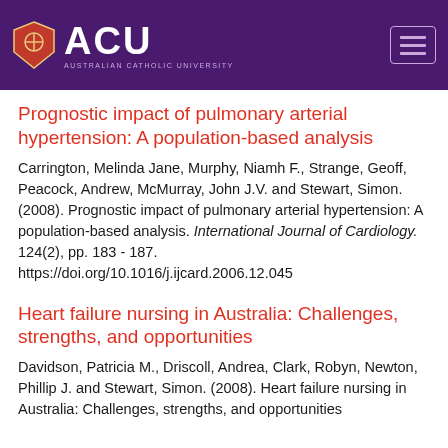[Figure (logo): Australian Catholic University (ACU) logo with shield and text on purple header background with hamburger menu icon]
Prognostic impact of pulmonary arterial hypertension: A population-based analysis
Carrington, Melinda Jane, Murphy, Niamh F., Strange, Geoff, Peacock, Andrew, McMurray, John J.V. and Stewart, Simon. (2008). Prognostic impact of pulmonary arterial hypertension: A population-based analysis. International Journal of Cardiology. 124(2), pp. 183 - 187. https://doi.org/10.1016/j.ijcard.2006.12.045
Heart failure nursing in Australia: Challenges, strengths, and opportunities
Davidson, Patricia M., Driscoll, Andrea, Clark, Robyn, Newton, Phillip J. and Stewart, Simon. (2008). Heart failure nursing in Australia: Challenges, strengths, and opportunities